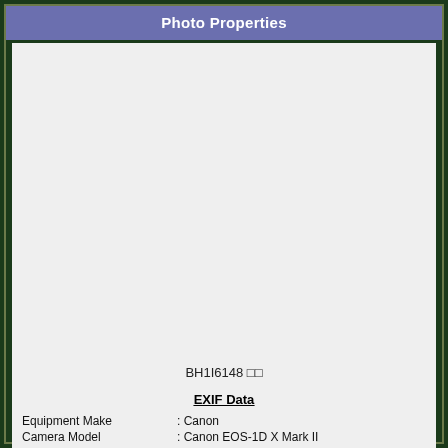Photo Properties
[Figure (photo): Large blank/light gray photo placeholder area]
BH1I6148 □□
EXIF Data
Equipment Make : Canon
Camera Model : Canon EOS-1D X Mark II
Camera Software : Adobe Photoshop CC 2018 (Windows)